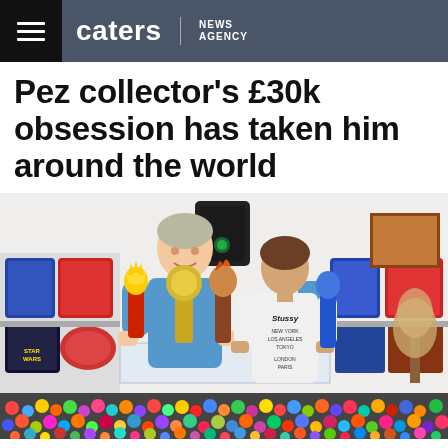caters | NEWS AGENCY
Pez collector's £30k obsession has taken him around the world
[Figure (photo): A man in a blue t-shirt and a boy in a white Stussy t-shirt stand side by side holding large oversized PEZ dispensers (Bart Simpson character, a golden figure, a character with feathers, and a blue one). In front of them is a large collection of hundreds of small PEZ dispensers spread across a table. Behind them on shelves are more PEZ collections, packaged sets, and on the right a decorative tree. A black speaker is visible in the background center.]